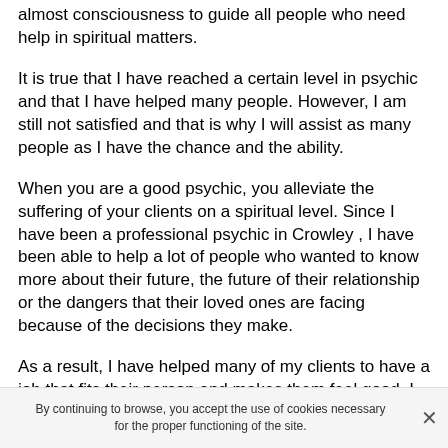almost consciousness to guide all people who need help in spiritual matters.
It is true that I have reached a certain level in psychic and that I have helped many people. However, I am still not satisfied and that is why I will assist as many people as I have the chance and the ability.
When you are a good psychic, you alleviate the suffering of your clients on a spiritual level. Since I have been a professional psychic in Crowley , I have been able to help a lot of people who wanted to know more about their future, the future of their relationship or the dangers that their loved ones are facing because of the decisions they make.
As a result, I have helped many of my clients to have a job that fits their person and makes them feel good. I have
By continuing to browse, you accept the use of cookies necessary for the proper functioning of the site.